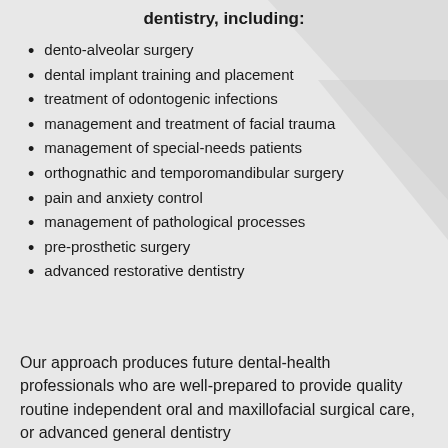dentistry, including:
dento-alveolar surgery
dental implant training and placement
treatment of odontogenic infections
management and treatment of facial trauma
management of special-needs patients
orthognathic and temporomandibular surgery
pain and anxiety control
management of pathological processes
pre-prosthetic surgery
advanced restorative dentistry
Our approach produces future dental-health professionals who are well-prepared to provide quality routine independent oral and maxillofacial surgical care, or advanced general dentistry